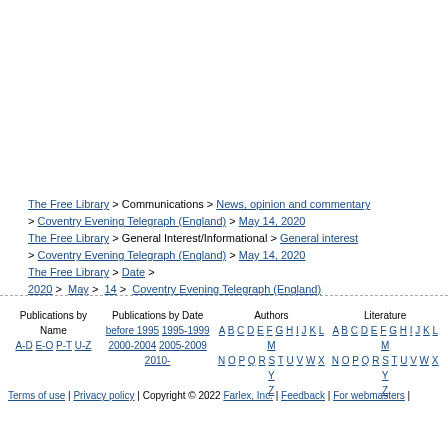The Free Library > Communications > News, opinion and commentary > Coventry Evening Telegraph (England) > May 14, 2020 The Free Library > General Interest/Informational > General interest > Coventry Evening Telegraph (England) > May 14, 2020 The Free Library > Date > 2020 > May > 14 > Coventry Evening Telegraph (England)
Publications by Name | Publications by Date | Authors | Literature | A-D E-O P-T U-Z | before 1995 1995-1999 2000-2004 2005-2009 2010- | A B C D E F G H I J K L M N O P Q R S T U V W X Y Z | A B C D E F G H I J K L M N O P Q R S T U V W X Y Z
Terms of use | Privacy policy | Copyright © 2022 Farlex, Inc. | Feedback | For webmasters |